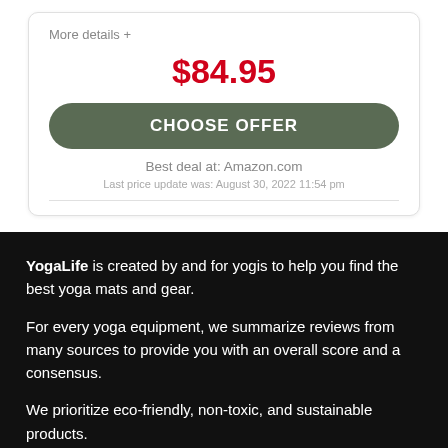More details +
$84.95
CHOOSE OFFER
Best deal at: Amazon.com
Last price update was: August 30, 2022 11:54 pm
YogaLife is created by and for yogis to help you find the best yoga mats and gear.
For every yoga equipment, we summarize reviews from many sources to provide you with an overall score and a consensus.
We prioritize eco-friendly, non-toxic, and sustainable products.